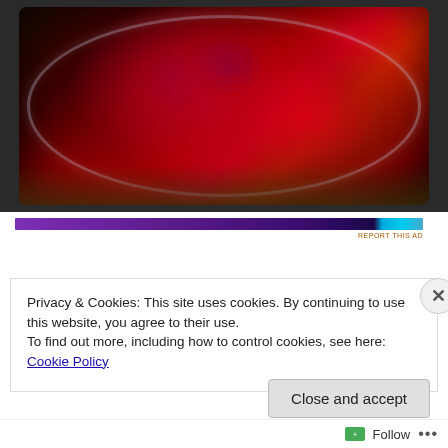[Figure (photo): Overhead view of a glass jar filled with red raspberry or berry jam, sitting on dry grass. The jam is deep red/crimson with chunky berry pieces and a glossy surface. The jar has a visible glass rim. Photo has dark vignette edges.]
[Figure (other): Advertisement banner bar — gradient bar from purple to dark blue with cyan/teal accent on the right edge.]
REPORT THIS AD
Privacy & Cookies: This site uses cookies. By continuing to use this website, you agree to their use.
To find out more, including how to control cookies, see here: Cookie Policy
Close and accept
Follow